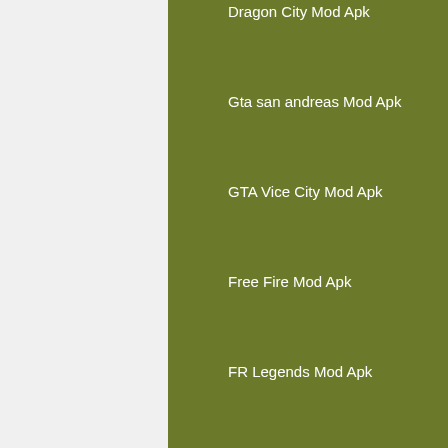Dragon City Mod Apk
Gta san andreas Mod Apk
GTA Vice City Mod Apk
Free Fire Mod Apk
FR Legends Mod Apk
Top Apps
Lucky Patcher Apk
Spotify Premium Apk
Kinemaster Pro Mod Apk
Mx Player Pro Apk
ppsspp gold apk